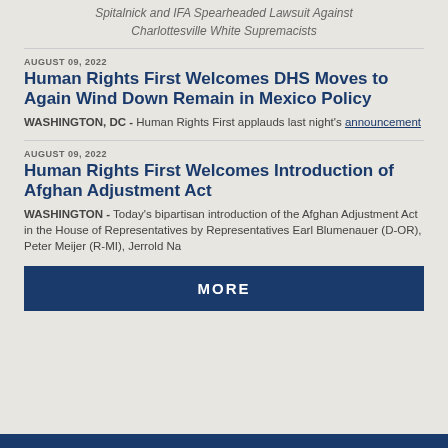Spitalnick and IFA Spearheaded Lawsuit Against Charlottesville White Supremacists
AUGUST 09, 2022
Human Rights First Welcomes DHS Moves to Again Wind Down Remain in Mexico Policy
WASHINGTON, DC - Human Rights First applauds last night's announcement
AUGUST 09, 2022
Human Rights First Welcomes Introduction of Afghan Adjustment Act
WASHINGTON - Today's bipartisan introduction of the Afghan Adjustment Act in the House of Representatives by Representatives Earl Blumenauer (D-OR), Peter Meijer (R-MI), Jerrold Na
MORE